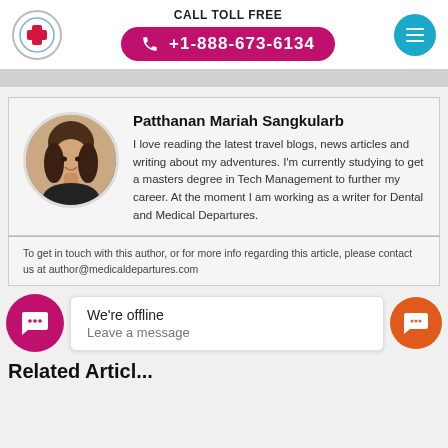CALL TOLL FREE +1-888-673-6134
[Figure (infographic): Author profile card with circular photo of Patthanan Mariah Sangkularb]
Patthanan Mariah Sangkularb
I love reading the latest travel blogs, news articles and writing about my adventures. I'm currently studying to get a masters degree in Tech Management to further my career. At the moment I am working as a writer for Dental and Medical Departures.
To get in touch with this author, or for more info regarding this article, please contact us at author@medicaldepartures.com
We're offline
Leave a message
Related Articles